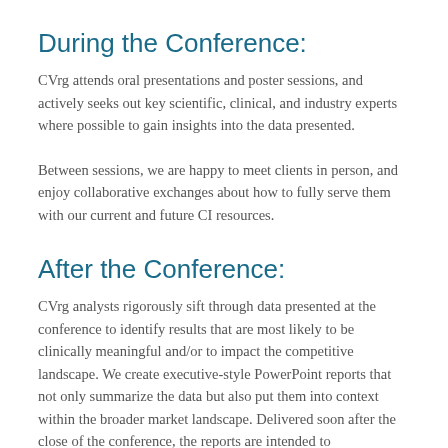During the Conference:
CVrg attends oral presentations and poster sessions, and actively seeks out key scientific, clinical, and industry experts where possible to gain insights into the data presented.
Between sessions, we are happy to meet clients in person, and enjoy collaborative exchanges about how to fully serve them with our current and future CI resources.
After the Conference:
CVrg analysts rigorously sift through data presented at the conference to identify results that are most likely to be clinically meaningful and/or to impact the competitive landscape. We create executive-style PowerPoint reports that not only summarize the data but also put them into context within the broader market landscape. Delivered soon after the close of the conference, the reports are intended to